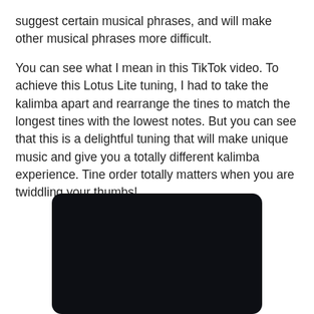suggest certain musical phrases, and will make other musical phrases more difficult.
You can see what I mean in this TikTok video. To achieve this Lotus Lite tuning, I had to take the kalimba apart and rearrange the tines to match the longest tines with the lowest notes. But you can see that this is a delightful tuning that will make unique music and give you a totally different kalimba experience. Tine order totally matters when you are twiddling your thumbs!
[Figure (screenshot): A dark/black rectangular video player embed with rounded corners, appearing to be a TikTok video placeholder.]